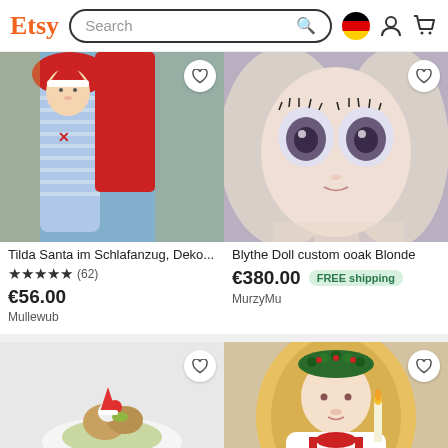Etsy | Search | German flag | User | Cart
[Figure (photo): Tilda Santa doll in pajamas, decorative Christmas doll with red hat and blue striped outfit]
Tilda Santa im Schlafanzug, Deko...
★★★★★ (62)
€56.00
Mullewub
[Figure (photo): Blythe Doll custom ooak Blonde - close-up of a blonde Blythe doll with large eyes]
Blythe Doll custom ooak Blonde
€380.00 FREE shipping
MurzyMu
[Figure (photo): Miniature dessert food item on red checkered cloth in a white bowl]
[Figure (photo): Handmade doll of a girl with blonde hair and Christmas wreath, holding a candle, wearing white dress with red ribbon]